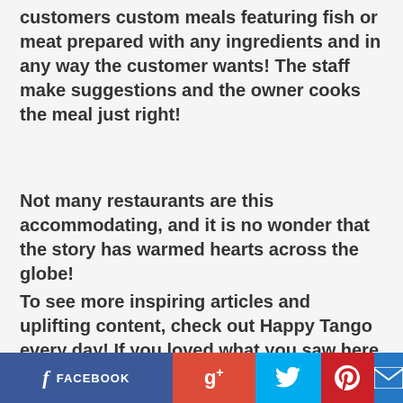customers custom meals featuring fish or meat prepared with any ingredients and in any way the customer wants! The staff make suggestions and the owner cooks the meal just right!
Not many restaurants are this accommodating, and it is no wonder that the story has warmed hearts across the globe!
To see more inspiring articles and uplifting content, check out Happy Tango every day! If you loved what you saw here then like and share this with the links below!
Image via
[Figure (other): Social media sharing buttons: Facebook, Google+, Twitter, Pinterest, Email]